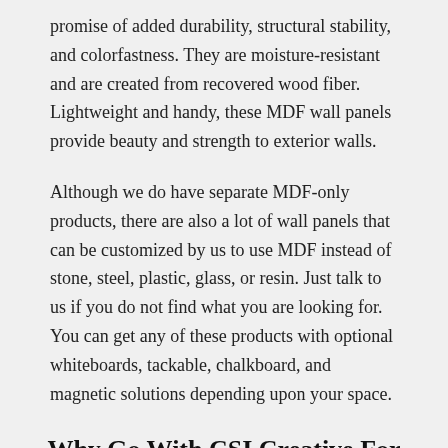promise of added durability, structural stability, and colorfastness. They are moisture-resistant and are created from recovered wood fiber. Lightweight and handy, these MDF wall panels provide beauty and strength to exterior walls.
Although we do have separate MDF-only products, there are also a lot of wall panels that can be customized by us to use MDF instead of stone, steel, plastic, glass, or resin. Just talk to us if you do not find what you are looking for. You can get any of these products with optional whiteboards, tackable, chalkboard, and magnetic solutions depending upon your space.
Why Go With CSI Creative For Your Paneling Needs